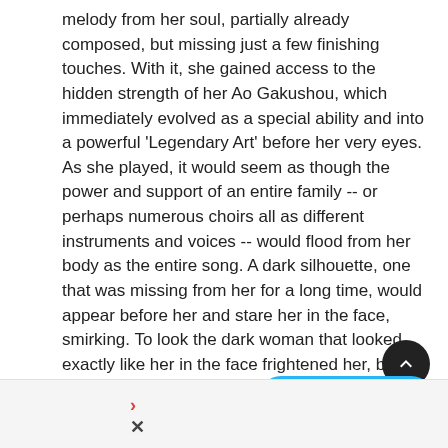melody from her soul, partially already composed, but missing just a few finishing touches. With it, she gained access to the hidden strength of her Ao Gakushou, which immediately evolved as a special ability and into a powerful 'Legendary Art' before her very eyes. As she played, it would seem as though the power and support of an entire family -- or perhaps numerous choirs all as different instruments and voices -- would flood from her body as the entire song. A dark silhouette, one that was missing from her for a long time, would appear before her and stare her in the face, smirking. To look the dark woman that looked exactly like her in the face frightened her, but before too long, that pale, colorless fairy would slip into place and fill herself within the body of the young Hisui, who was now finally ready to accept and awaken her true self.

She suddenly stopped playing, yet the music released from her flute and into the air didn't s... Eventually, Jade would be able to hear it as it progressively grew
[Figure (other): Dark circular scroll-to-top button with upward chevron arrow]
[Figure (other): Blue rounded 'Reply to topic' button with reply arrow icon]